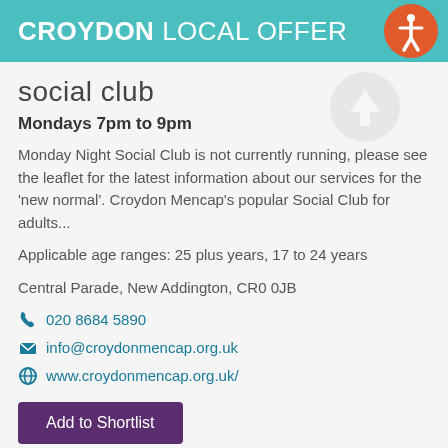CROYDON LOCAL OFFER
social club
Mondays 7pm to 9pm
Monday Night Social Club is not currently running, please see the leaflet for the latest information about our services for the 'new normal'. Croydon Mencap's popular Social Club for adults...
Applicable age ranges: 25 plus years, 17 to 24 years
Central Parade, New Addington, CR0 0JB
020 8684 5890
info@croydonmencap.org.uk
www.croydonmencap.org.uk/
Add to Shortlist